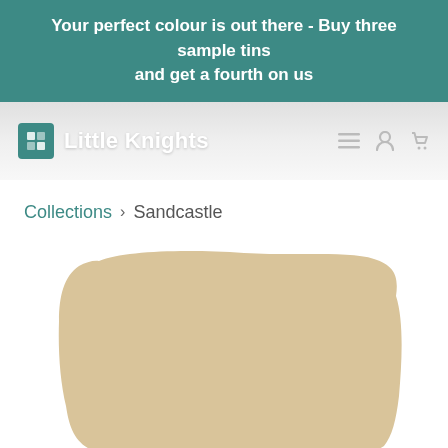Your perfect colour is out there - Buy three sample tins and get a fourth on us
[Figure (logo): Little Knights paint brand logo with teal square icon containing letter n and text 'Little Knights', with hamburger menu, user, and cart icons on the right]
Collections › Sandcastle
[Figure (illustration): A large sandcastle-coloured paint swatch blob in a warm beige/tan colour, showing the paint colour named Sandcastle]